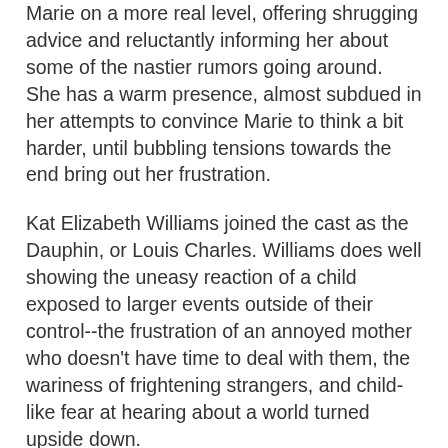Marie on a more real level, offering shrugging advice and reluctantly informing her about some of the nastier rumors going around. She has a warm presence, almost subdued in her attempts to convince Marie to think a bit harder, until bubbling tensions towards the end bring out her frustration.
Kat Elizabeth Williams joined the cast as the Dauphin, or Louis Charles. Williams does well showing the uneasy reaction of a child exposed to larger events outside of their control--the frustration of an annoyed mother who doesn't have time to deal with them, the wariness of frightening strangers, and child-like fear at hearing about a world turned upside down.
Then there is... The Sheep. A symbolic, strange character played here, as in the 2013 Soho Rep production, by David Greenspan. The sheep is not real. The sheep is creepy. The sheep warns Marie about the future and demands to be pet while invading her personal space. While the character itself feels unnecessary--particularly given that the territory Adjmi covers with the Sheep is already covered by the Revolutionary--Greenspan embodies the sheep with an underlying menace that pays off in the end.